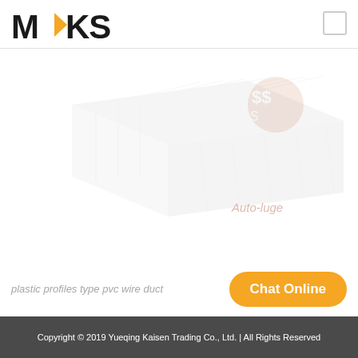[Figure (logo): MKS company logo with orange triangle/arrow accent between M and K letters, black text]
[Figure (photo): Faded/watermarked product image of plastic cable duct/wire duct trunking, shown in perspective view, very light gray]
[Figure (illustration): Faded auto-luge logo/icon top right of image area]
Auto-luge
plastic profiles type pvc wire duct
Chat Online
Copyright © 2019 Yueqing Kaisen Trading Co., Ltd. | All Rights Reserved